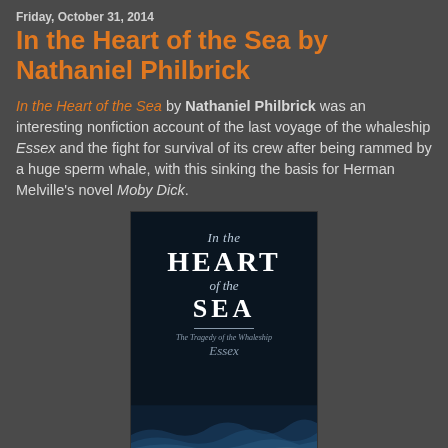Friday, October 31, 2014
In the Heart of the Sea by Nathaniel Philbrick
In the Heart of the Sea by Nathaniel Philbrick was an interesting nonfiction account of the last voyage of the whaleship Essex and the fight for survival of its crew after being rammed by a huge sperm whale, with this sinking the basis for Herman Melville's novel Moby Dick.
[Figure (photo): Book cover of 'In the Heart of the Sea: The Tragedy of the Whaleship Essex' by Nathaniel Philbrick. Dark cover with ocean waves at the bottom and white serif text.]
Philbrick's story was an historical tale of danger, resiliency